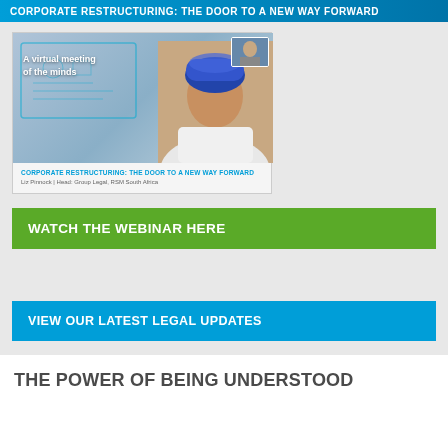CORPORATE RESTRUCTURING: THE DOOR TO A NEW WAY FORWARD
[Figure (screenshot): Webinar screenshot showing a woman with a colorful head wrap and a white top, with text overlay 'A virtual meeting of the minds' and a small inset video. Below shows title 'CORPORATE RESTRUCTURING: THE DOOR TO A NEW WAY FORWARD' and author 'Liz Pinnock | Head: Group Legal, RSM South Africa']
WATCH THE WEBINAR HERE
VIEW OUR LATEST LEGAL UPDATES
THE POWER OF BEING UNDERSTOOD